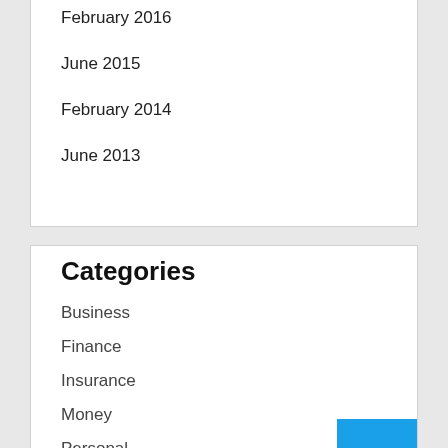February 2016
June 2015
February 2014
June 2013
Categories
Business
Finance
Insurance
Money
Personal